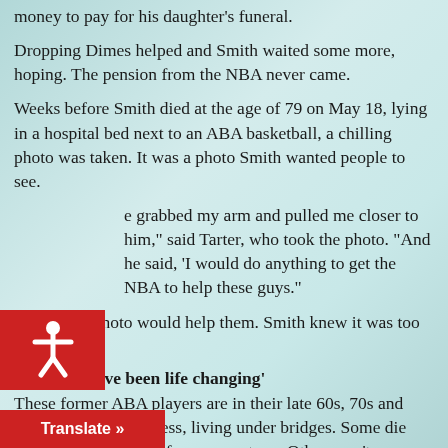money to pay for his daughter's funeral.
Dropping Dimes helped and Smith waited some more, hoping. The pension from the NBA never came.
Weeks before Smith died at the age of 79 on May 18, lying in a hospital bed next to an ABA basketball, a chilling photo was taken. It was a photo Smith wanted people to see.
e grabbed my arm and pulled me closer to him," said Tarter, who took the photo. "And he said, 'I would do anything to get the NBA to help these guys."
Maybe the photo would help them. Smith knew it was too late for him.
'It would have been life changing'
These former ABA players are in their late 60s, 70s and 80s. Some are homeless, living under bridges. Some die alone with no money for a gravestone. Others can't even afford suit to go to church.